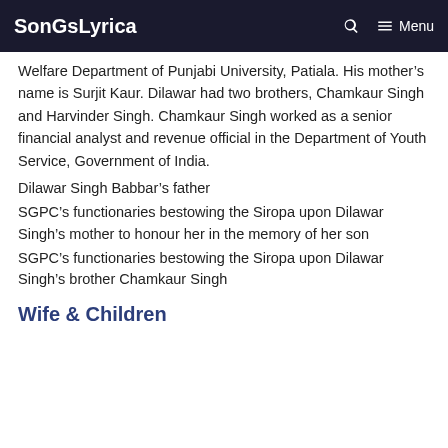SonGsLyrica  Menu
Welfare Department of Punjabi University, Patiala. His mother’s name is Surjit Kaur. Dilawar had two brothers, Chamkaur Singh and Harvinder Singh. Chamkaur Singh worked as a senior financial analyst and revenue official in the Department of Youth Service, Government of India.
Dilawar Singh Babbar’s father
SGPC’s functionaries bestowing the Siropa upon Dilawar Singh’s mother to honour her in the memory of her son
SGPC’s functionaries bestowing the Siropa upon Dilawar Singh’s brother Chamkaur Singh
Wife & Children